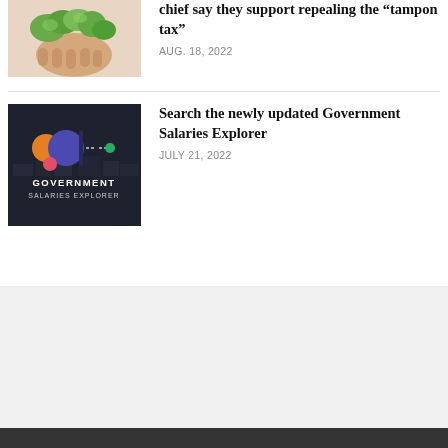[Figure (photo): Person holding green leafy vegetables against light background]
chief say they support repealing the “tampon tax”
AUG. 18, 2022
[Figure (screenshot): Government Salaries Explorer dark-themed graphic with colorful circles and city aerial background]
Search the newly updated Government Salaries Explorer
JULY 21, 2022